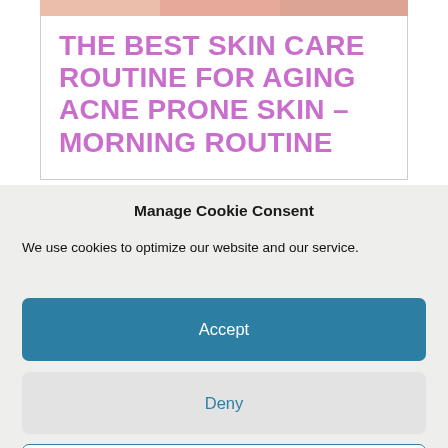[Figure (photo): Partial photo of a person's face/skin at the top of the page, cropped]
THE BEST SKIN CARE ROUTINE FOR AGING ACNE PRONE SKIN – MORNING ROUTINE
Manage Cookie Consent
We use cookies to optimize our website and our service.
Accept
Deny
Preferences